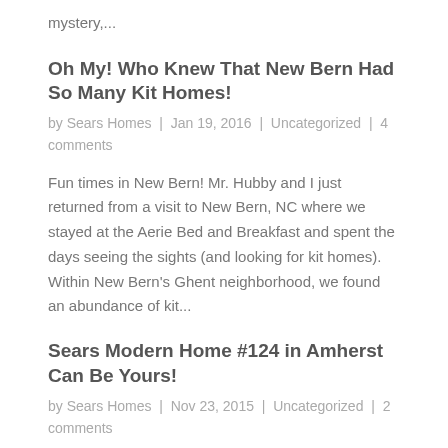mystery,...
Oh My! Who Knew That New Bern Had So Many Kit Homes!
by Sears Homes  |  Jan 19, 2016  |  Uncategorized  |  4 comments
Fun times in New Bern! Mr. Hubby and I just returned from a visit to New Bern, NC where we stayed at the Aerie Bed and Breakfast and spent the days seeing the sights (and looking for kit homes). Within New Bern's Ghent neighborhood, we found an abundance of kit...
Sears Modern Home #124 in Amherst Can Be Yours!
by Sears Homes  |  Nov 23, 2015  |  Uncategorized  |  2 comments